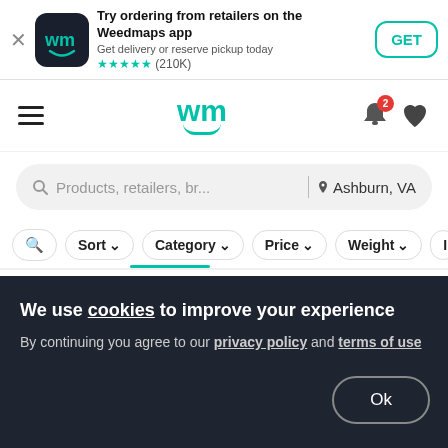[Figure (screenshot): Weedmaps app banner with icon, title 'Try ordering from retailers on the Weedmaps app', subtitle 'Get delivery or reserve pickup today', 5-star rating (210K), and GET button]
[Figure (screenshot): Weedmaps navigation bar with hamburger menu, wm logo, bell icon with badge 2, and heart icon]
[Figure (screenshot): Search bar with text 'Products, retailers, br...' and location 'Ashburn, VA']
[Figure (screenshot): Filter pills row: search icon, Sort, Category, Price, Weight, Indic... with teal underline indicator]
[Figure (screenshot): Product listing: Flower | Animal Cookies category, REFLECT 9 - Animal Cookies x Sour product title, with cannabis bud image and heart favorite button, feedback tab on right]
We use cookies to improve your experience
By continuing you agree to our privacy policy and terms of use
Ok